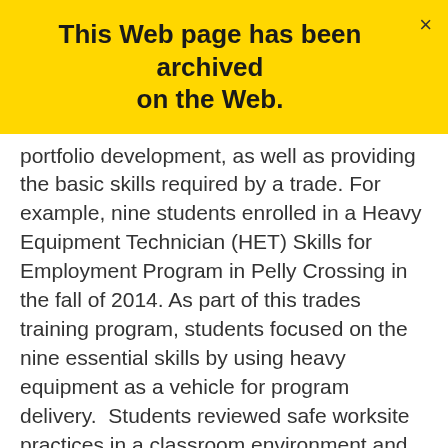This Web page has been archived on the Web.
portfolio development, as well as providing the basic skills required by a trade. For example, nine students enrolled in a Heavy Equipment Technician (HET) Skills for Employment Program in Pelly Crossing in the fall of 2014. As part of this trades training program, students focused on the nine essential skills by using heavy equipment as a vehicle for program delivery.  Students reviewed safe worksite practices in a classroom environment and then applied